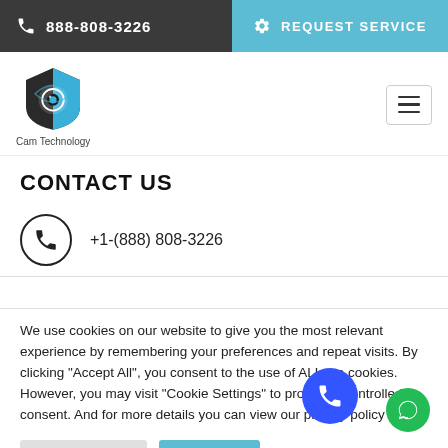888-808-3226 | REQUEST SERVICE
[Figure (logo): Cam Technology logo — shield with camera eye icon, black and blue, text 'Cam Technology' below]
CONTACT US
+1-(888) 808-3226
We use cookies on our website to give you the most relevant experience by remembering your preferences and repeat visits. By clicking "Accept All", you consent to the use of ALL the cookies. However, you may visit "Cookie Settings" to provide a controlled consent. And for more details you can view our privacy policy
Cookie Settings | Accept All